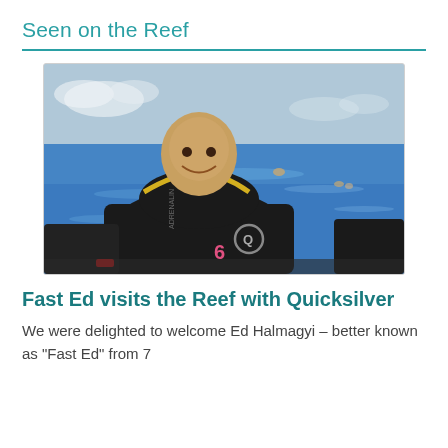Seen on the Reef
[Figure (photo): A man in a black wetsuit with yellow trim and the number 6, smiling and standing on a boat. The ocean is visible in the background with a few people in the water. The wetsuit has an Adrenalin brand logo.]
Fast Ed visits the Reef with Quicksilver
We were delighted to welcome Ed Halmagyi – better known as "Fast Ed" from 7